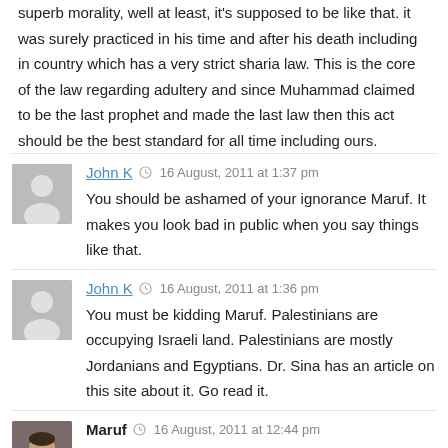superb morality, well at least, it's supposed to be like that. it was surely practiced in his time and after his death including in country which has a very strict sharia law. This is the core of the law regarding adultery and since Muhammad claimed to be the last prophet and made the last law then this act should be the best standard for all time including ours.
John K  16 August, 2011 at 1:37 pm
You should be ashamed of your ignorance Maruf. It makes you look bad in public when you say things like that.
John K  16 August, 2011 at 1:36 pm
You must be kidding Maruf. Palestinians are occupying Israeli land. Palestinians are mostly Jordanians and Egyptians. Dr. Sina has an article on this site about it. Go read it.
Maruf  16 August, 2011 at 12:44 pm
What a Joke ""February 2001 Israel sent an fully-equipped field hospital, staffed by doctors and nurses, to assist in treating